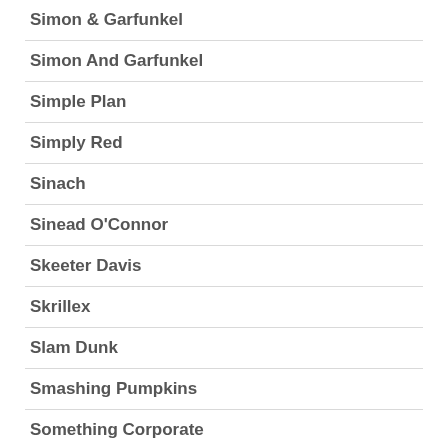Simon & Garfunkel
Simon And Garfunkel
Simple Plan
Simply Red
Sinach
Sinead O'Connor
Skeeter Davis
Skrillex
Slam Dunk
Smashing Pumpkins
Something Corporate